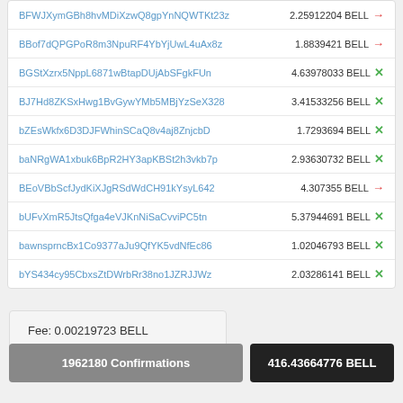| Address | Amount | Type |
| --- | --- | --- |
| BFWJXymGBh8hvMDiXzwQ8gpYnNQWTKt23z | 2.25912204 BELL | → |
| BBof7dQPGPoR8m3NpuRF4YbYjUwL4uAx8z | 1.8839421 BELL | → |
| BGStXzrx5NppL6871wBtapDUjAbSFgkFUn | 4.63978033 BELL | × |
| BJ7Hd8ZKSxHwg1BvGywYMb5MBjYzSeX328 | 3.41533256 BELL | × |
| bZEsWkfx6D3DJFWhinSCaQ8v4aj8ZnjcbD | 1.7293694 BELL | × |
| baNRgWA1xbuk6BpR2HY3apKBSt2h3vkb7p | 2.93630732 BELL | × |
| BEoVBbScfJydKiXJgRSdWdCH91kYsyL642 | 4.307355 BELL | → |
| bUFvXmR5JtsQfga4eVJKnNiSaCvviPC5tn | 5.37944691 BELL | × |
| bawnsprncBx1Co9377aJu9QfYK5vdNfEc86 | 1.02046793 BELL | × |
| bYS434cy95CbxsZtDWrbRr38no1JZRJJWz | 2.03286141 BELL | × |
Fee: 0.00219723 BELL
1962180 Confirmations
416.43664776 BELL